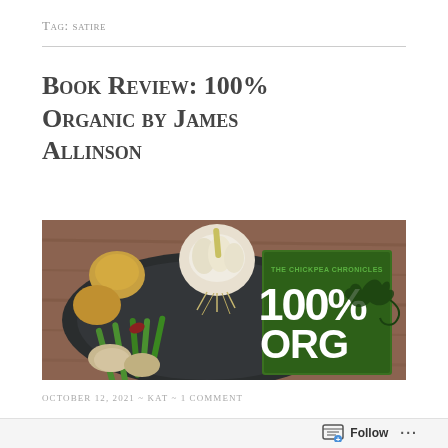Tag: satire
Book Review: 100% Organic by James Allinson
[Figure (photo): Photo of vegetables including garlic, green beans, onions, and mushrooms on a dark plate on a wooden surface, with a green book cover showing '100% Organic – The Chickpea Chronicles' with a dragon silhouette.]
OCTOBER 12, 2021 ~ KAT ~ 1 COMMENT